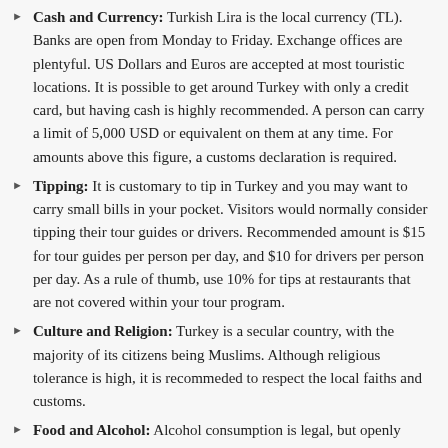Cash and Currency: Turkish Lira is the local currency (TL). Banks are open from Monday to Friday. Exchange offices are plentyful. US Dollars and Euros are accepted at most touristic locations. It is possible to get around Turkey with only a credit card, but having cash is highly recommended. A person can carry a limit of 5,000 USD or equivalent on them at any time. For amounts above this figure, a customs declaration is required.
Tipping: It is customary to tip in Turkey and you may want to carry small bills in your pocket. Visitors would normally consider tipping their tour guides or drivers. Recommended amount is $15 for tour guides per person per day, and $10 for drivers per person per day. As a rule of thumb, use 10% for tips at restaurants that are not covered within your tour program.
Culture and Religion: Turkey is a secular country, with the majority of its citizens being Muslims. Although religious tolerance is high, it is recommeded to respect the local faiths and customs.
Food and Alcohol: Alcohol consumption is legal, but openly consuming on the street is illegal and may cause a gentle reminder by a police officer. Pork is not served in many restaurants, and those that